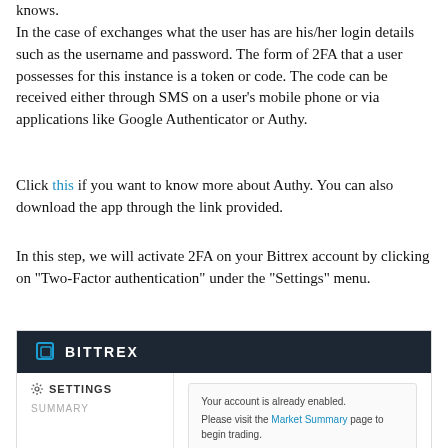knows.
In the case of exchanges what the user has are his/her login details such as the username and password. The form of 2FA that a user possesses for this instance is a token or code. The code can be received either through SMS on a user's mobile phone or via applications like Google Authenticator or Authy.
Click this if you want to know more about Authy. You can also download the app through the link provided.
In this step, we will activate 2FA on your Bittrex account by clicking on "Two-Factor authentication" under the "Settings" menu.
[Figure (screenshot): Screenshot of the Bittrex exchange interface showing the dark header with the Bittrex logo, a Settings section in the left sidebar with 'SUMMARY' below it, and a main area showing 'Your account is already enabled. Please visit the Market Summary page to begin trading.']